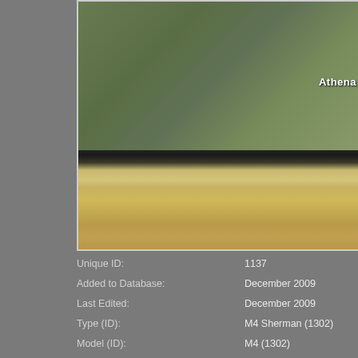[Figure (photo): A Sherman M4 tank named 'Athena' displayed as a monument, photographed from a low angle showing the front and side. The tank is painted olive green with tracks visible. White text 'Athena' is visible on the turret. Background shows trees and a building.]
| Unique ID: | 1137 |
| Added to Database: | December 2009 |
| Last Edited: | December 2009 |
| Type (ID): | M4 Sherman (1302) |
| Model (ID): | M4 (1302) |
| Location Category (ID): | Price of Peace Monument (5560) |
| Location (ID): | Ortona (5560) |
| Serial Number: | 24871 (source: P.-O. Buan/Shado |